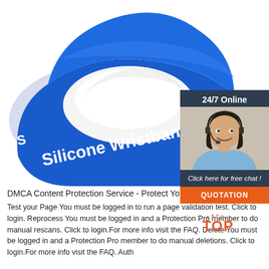[Figure (photo): Blue silicone RFID wristband with white text reading 'Silicone Wristband' and NFC/RFID wave symbol on white background]
[Figure (infographic): 24/7 Online chat widget showing a woman with headset smiling, with 'Click here for free chat!' text and orange QUOTATION button, on dark blue/grey background]
DMCA Content Protection Service - Protect Your Content
Test your Page You must be logged in to run a page validation test. Click to login. Reprocess You must be logged in and a Protection Pro member to do manual rescans. Click to login.For more info visit the FAQ. Delete You must be logged in and a Protection Pro member to do manual deletions. Click to login.For more info visit the FAQ. Auth